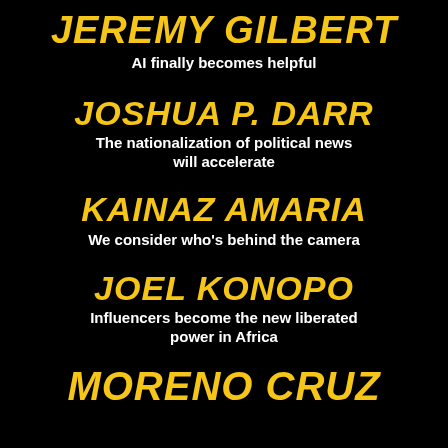JEREMY GILBERT
AI finally becomes helpful
JOSHUA P. DARR
The nationalization of political news will accelerate
KAINAZ AMARIA
We consider who's behind the camera
JOEL KONOPO
Influencers become the new liberated power in Africa
MORENO CRUZ